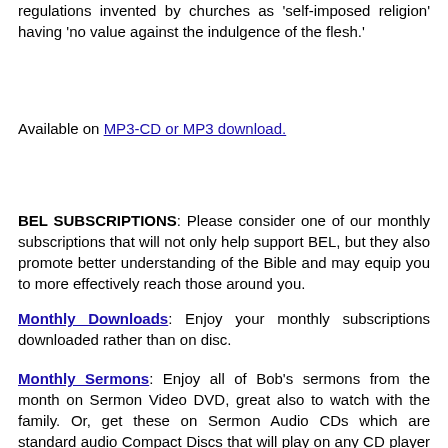regulations invented by churches as 'self-imposed religion' having 'no value against the indulgence of the flesh.'
Available on MP3-CD or MP3 download.
BEL SUBSCRIPTIONS: Please consider one of our monthly subscriptions that will not only help support BEL, but they also promote better understanding of the Bible and may equip you to more effectively reach those around you.
Monthly Downloads: Enjoy your monthly subscriptions downloaded rather than on disc.
Monthly Sermons: Enjoy all of Bob's sermons from the month on Sermon Video DVD, great also to watch with the family. Or, get these on Sermon Audio CDs which are standard audio Compact Discs that will play on any CD player including the one in your car. Or get them on a